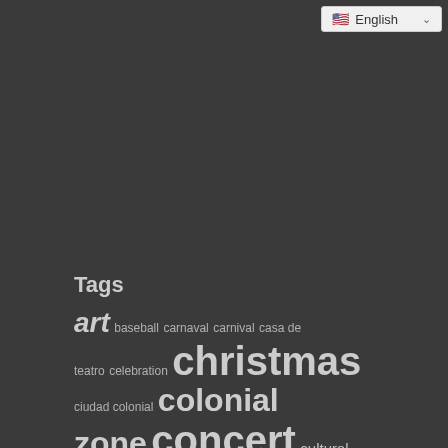[Figure (screenshot): Language selector dropdown showing English with US flag and chevron arrow]
Tags
art baseball carnaval carnival casa de teatro celebration christmas ciudad colonial colonial zone concert cultural culture dance dominican dominican republic event events festival fortaleza ozama happy hour hard rock